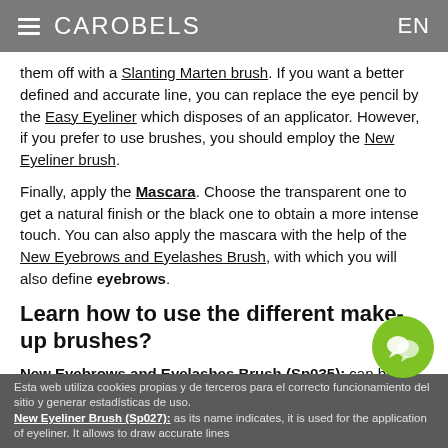CAROBELS  EN
them off with a Slanting Marten brush. If you want a better defined and accurate line, you can replace the eye pencil by the Easy Eyeliner which disposes of an applicator. However, if you prefer to use brushes, you should employ the New Eyeliner brush.
Finally, apply the Mascara. Choose the transparent one to get a natural finish or the black one to obtain a more intense touch. You can also apply the mascara with the help of the New Eyebrows and Eyelashes Brush, with which you will also define eyebrows.
Learn how to use the different make-up brushes?
New Eyebrows and Eyelashes Brush (Sp035): can be divided in two parts: the one of the brush aims at drawing the brow as desired, and the one of the comb aims at separating eyelashes after the application of mascara.
Esta web utiliza cookies propias y de terceros para el correcto funcionamiento del sitio y generar estadísticas de uso.
New Eyeliner Brush (Sp027): as its name indicates, it is used for the application of eyeliner. It allows to draw accurate lines